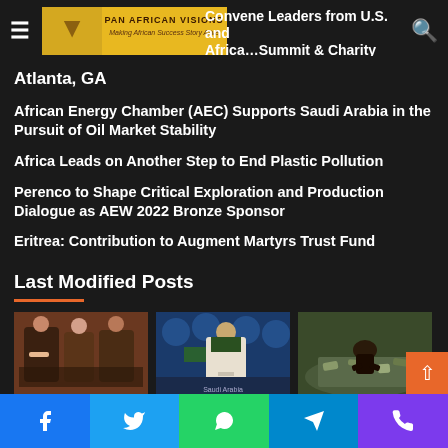Pan African Visions — navigation header
AEC Convene Leaders from U.S. and Africa at Trade Summit & Charity Ball in Atlanta, GA
African Energy Chamber (AEC) Supports Saudi Arabia in the Pursuit of Oil Market Stability
Africa Leads on Another Step to End Plastic Pollution
Perenco to Shape Critical Exploration and Production Dialogue as AEW 2022 Bronze Sponsor
Eritrea: Contribution to Augment Martyrs Trust Fund
Last Modified Posts
[Figure (photo): People at a conference or panel discussion]
[Figure (photo): Man in white robe with Saudi Arabia flag at OPEC meeting]
[Figure (photo): Person among plastic waste/pollution]